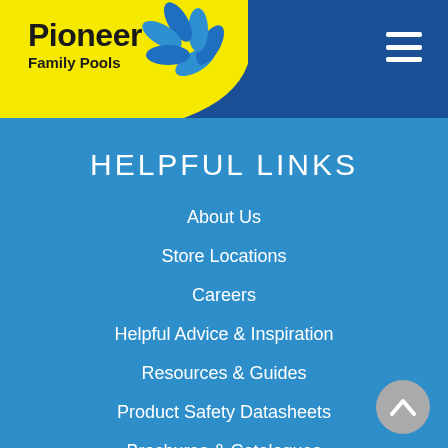[Figure (logo): Pioneer Family Pools logo with yellow circular background and blue flower/splash graphic]
HELPFUL LINKS
About Us
Store Locations
Careers
Helpful Advice & Inspiration
Resources & Guides
Product Safety Datasheets
Brochures & Catalogues